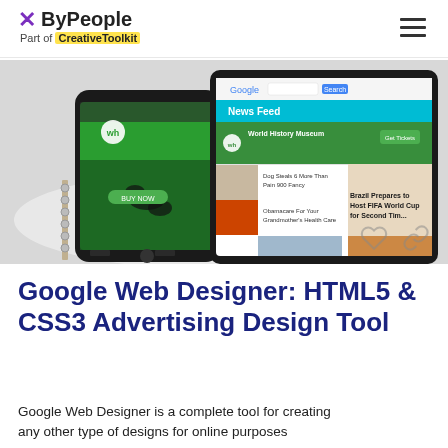ByPeople — Part of CreativeToolkit
[Figure (screenshot): Hero image showing an Android smartphone and a tablet displaying a news feed app with Google branding, placed on a white surface with a spiral notebook edge visible.]
Google Web Designer: HTML5 & CSS3 Advertising Design Tool
Google Web Designer is a complete tool for creating any other type of designs for online purposes